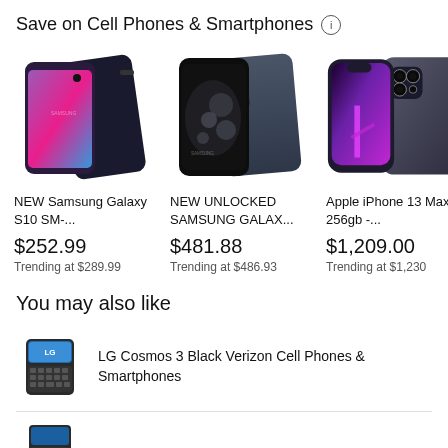Save on Cell Phones & Smartphones
[Figure (photo): NEW Samsung Galaxy S10 SM-... product image showing front and back of the phone]
NEW Samsung Galaxy S10 SM-...
$252.99
Trending at $289.99
[Figure (photo): NEW UNLOCKED SAMSUNG GALAX... product image showing front and back]
NEW UNLOCKED SAMSUNG GALAX...
$481.88
Trending at $486.93
[Figure (photo): Apple iPhone 13 Max - 256gb -... product image showing front and back]
Apple iPhone 13 Max - 256gb -...
$1,209.00
Trending at $1,230
You may also like
[Figure (photo): LG Cosmos 3 Black Verizon Cell Phone product image]
LG Cosmos 3 Black Verizon Cell Phones & Smartphones